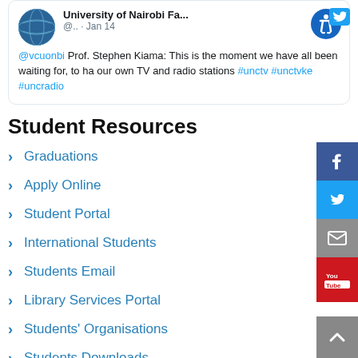[Figure (screenshot): Twitter/X card showing University of Nairobi tweet by @vcuonbi Prof. Stephen Kiama about TV and radio stations with hashtags #unctv #unctvke #uncradio, dated Jan 14]
Student Resources
Graduations
Apply Online
Student Portal
International Students
Students Email
Library Services Portal
Students' Organisations
Students Downloads